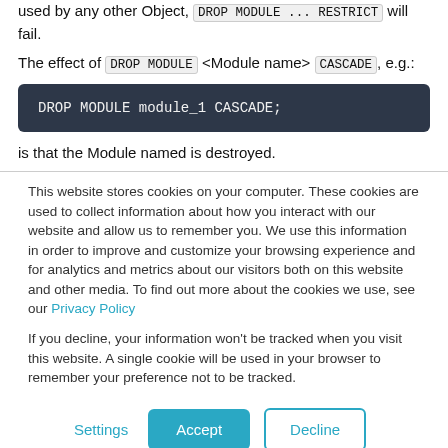used by any other Object, DROP MODULE ... RESTRICT will fail.
The effect of DROP MODULE <Module name> CASCADE, e.g.:
DROP MODULE module_1 CASCADE;
is that the Module named is destroyed.
This website stores cookies on your computer. These cookies are used to collect information about how you interact with our website and allow us to remember you. We use this information in order to improve and customize your browsing experience and for analytics and metrics about our visitors both on this website and other media. To find out more about the cookies we use, see our Privacy Policy
If you decline, your information won't be tracked when you visit this website. A single cookie will be used in your browser to remember your preference not to be tracked.
Settings  Accept  Decline